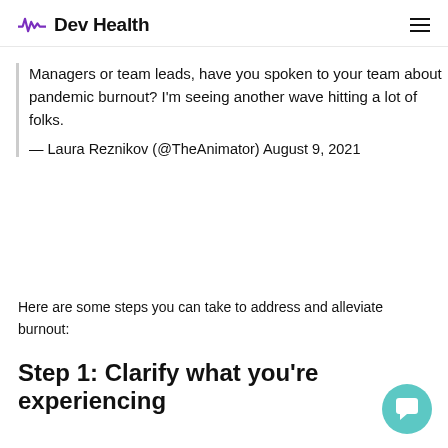Dev Health
Managers or team leads, have you spoken to your team about pandemic burnout? I'm seeing another wave hitting a lot of folks.
— Laura Reznikov (@TheAnimator) August 9, 2021
Here are some steps you can take to address and alleviate burnout:
Step 1: Clarify what you're experiencing